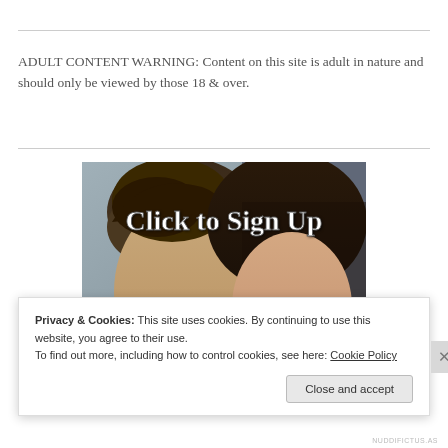ADULT CONTENT WARNING: Content on this site is adult in nature and should only be viewed by those 18 & over.
[Figure (photo): Promotional banner image showing a couple (young man and woman) close together with overlay text 'Click to Sign Up' in white serif font]
Privacy & Cookies: This site uses cookies. By continuing to use this website, you agree to their use.
To find out more, including how to control cookies, see here: Cookie Policy
Close and accept